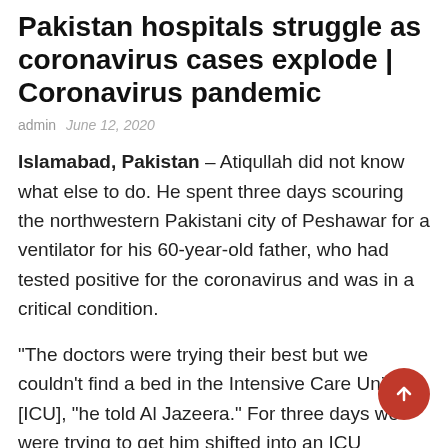Pakistan hospitals struggle as coronavirus cases explode | Coronavirus pandemic
admin   June 12, 2020
Islamabad, Pakistan – Atiqullah did not know what else to do. He spent three days scouring the northwestern Pakistani city of Peshawar for a ventilator for his 60-year-old father, who had tested positive for the coronavirus and was in a critical condition.
“The doctors were trying their best but we couldn’t find a bed in the Intensive Care Unit [ICU], “he told Al Jazeera.” For three days we were trying to get him shifted into an ICU